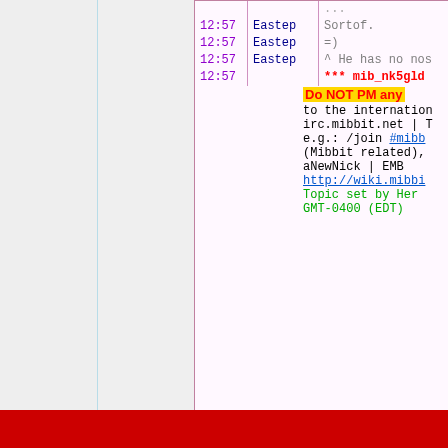[Figure (screenshot): IRC chat window fragment showing timestamps 12:57, nicks Eastep and mib_nk5gld, with messages including 'Sortof.', '=)', '^ He has no nos...', and a system message with yellow 'Do NOT PM any...' banner. Below is a pink/magenta input bar with toolbar links: Smilies | Colours | Translation | PasteBin | Upload]
Creator: unixbro
PortableApps.com (Red)
Settings ID:
3627414e3771f9250fce659187969141
Description: Portable Apps theme
Image: